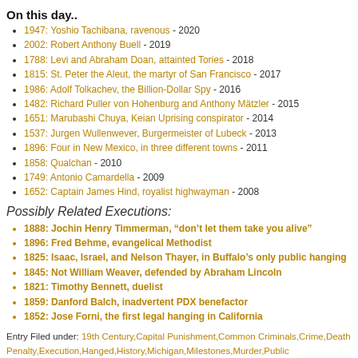On this day..
1947: Yoshio Tachibana, ravenous - 2020
2002: Robert Anthony Buell - 2019
1788: Levi and Abraham Doan, attainted Tories - 2018
1815: St. Peter the Aleut, the martyr of San Francisco - 2017
1986: Adolf Tolkachev, the Billion-Dollar Spy - 2016
1482: Richard Puller von Hohenburg and Anthony Mätzler - 2015
1651: Marubashi Chuya, Keian Uprising conspirator - 2014
1537: Jurgen Wullenwever, Burgermeister of Lubeck - 2013
1896: Four in New Mexico, in three different towns - 2011
1858: Qualchan - 2010
1749: Antonio Camardella - 2009
1652: Captain James Hind, royalist highwayman - 2008
Possibly Related Executions:
1888: Jochin Henry Timmerman, “don’t let them take you alive”
1896: Fred Behme, evangelical Methodist
1825: Isaac, Israel, and Nelson Thayer, in Buffalo’s only public hanging
1845: Not William Weaver, defended by Abraham Lincoln
1821: Timothy Bennett, duelist
1859: Danford Balch, inadvertent PDX benefactor
1852: Jose Forni, the first legal hanging in California
Entry Filed under: 19th Century,Capital Punishment,Common Criminals,Crime,Death Penalty,Execution,Hanged,History,Michigan,Milestones,Murder,Public Executions,USA
Tags: 1830, 1830s, david chardavoyne, detroit, september 24, stephen simmons